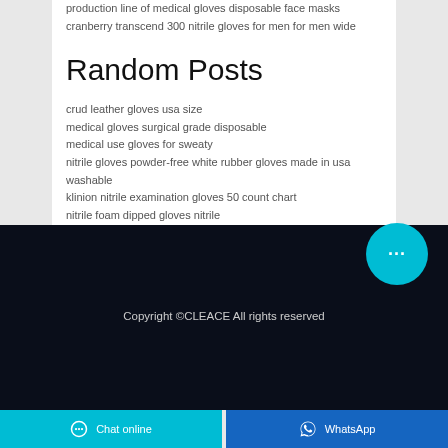production line of medical gloves disposable face masks
cranberry transcend 300 nitrile gloves for men for men wide
Random Posts
crud leather gloves usa size
medical gloves surgical grade disposable
medical use gloves for sweaty
nitrile gloves powder-free white rubber gloves made in usa washable
klinion nitrile examination gloves 50 count chart
nitrile foam dipped gloves nitrile
j4k gloves canada
golden gloves lowell schedule
100pcs disposable gloves nail clippers
crochet fingerless gloves with flap pattern
Copyright ©CLEACE All rights reserved